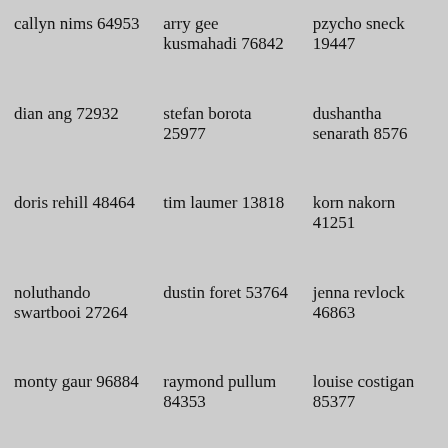callyn nims 64953
arry gee kusmahadi 76842
pzycho sneck 19447
dian ang 72932
stefan borota 25977
dushantha senarath 8576
doris rehill 48464
tim laumer 13818
korn nakorn 41251
noluthando swartbooi 27264
dustin foret 53764
jenna revlock 46863
monty gaur 96884
raymond pullum 84353
louise costigan 85377